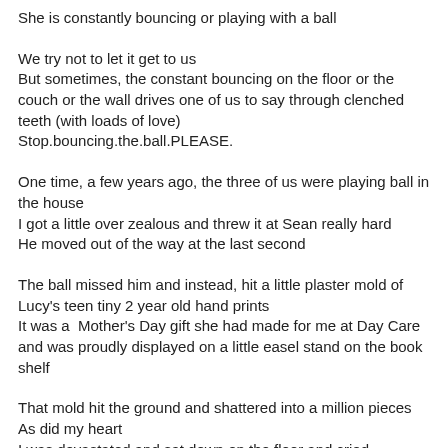She is constantly bouncing or playing with a ball
We try not to let it get to us
But sometimes, the constant bouncing on the floor or the couch or the wall drives one of us to say through clenched teeth (with loads of love)
Stop.bouncing.the.ball.PLEASE.
One time, a few years ago, the three of us were playing ball in the house
I got a little over zealous and threw it at Sean really hard
He moved out of the way at the last second
The ball missed him and instead, hit a little plaster mold of Lucy's teen tiny 2 year old hand prints
It was a  Mother's Day gift she had made for me at Day Care and was proudly displayed on a little easel stand on the book shelf
That mold hit the ground and shattered into a million pieces
As did my heart
I was devastated and sat down on the floor and cried